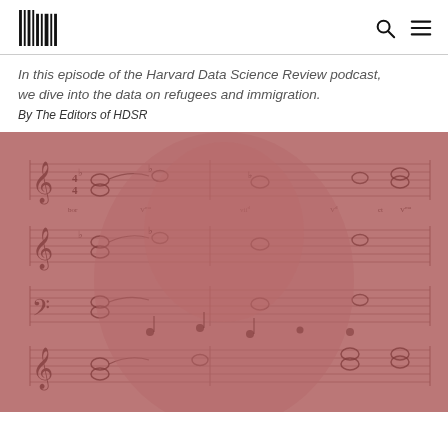HDSR logo with search and menu icons
In this episode of the Harvard Data Science Review podcast, we dive into the data on refugees and immigration.
By The Editors of HDSR
[Figure (photo): A pinkish-red tinted composite image showing a portrait of a 19th century man overlaid with music sheet notation (staffs, notes, chords).]